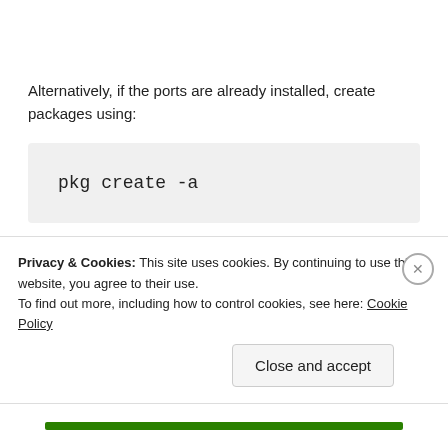Alternatively, if the ports are already installed, create packages using:
pkg create -a
This will create packages for all installed ports
Privacy & Cookies: This site uses cookies. By continuing to use this website, you agree to their use.
To find out more, including how to control cookies, see here: Cookie Policy
Close and accept